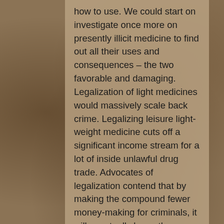how to use. We could start on investigate once more on presently illicit medicine to find out all their uses and consequences – the two favorable and damaging. Legalization of light medicines would massively scale back crime. Legalizing leisure light-weight medicine cuts off a significant income stream for a lot of inside unlawful drug trade. Advocates of legalization contend that by making the compound fewer money-making for criminals, it will eventually lower the violence involved with the trade. The end result could help you save life as having pressure off of law enforcement. Legalization would enable us to regulate the market, decide a very much cheaper price and take away customers really need